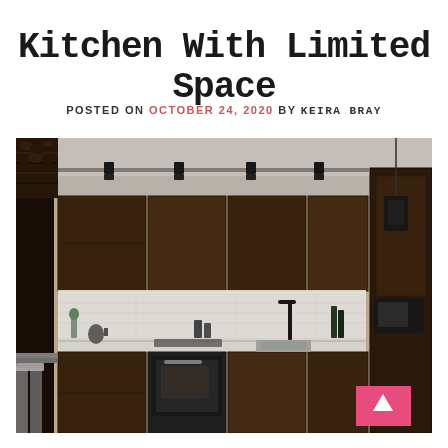Kitchen With Limited Space
POSTED ON OCTOBER 24, 2020  BY KEIRA BRAY
[Figure (photo): Modern dark wood kitchen interior with track lighting on ceiling, sleek flat-panel cabinetry in walnut tone, white marble countertops and backsplash, built-in oven, sink, various kitchen appliances, bar stools visible on left, pendant light and microwave on right side]